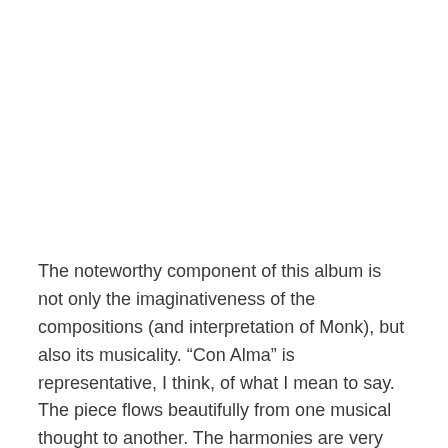The noteworthy component of this album is not only the imaginativeness of the compositions (and interpretation of Monk), but also its musicality. “Con Alma” is representative, I think, of what I mean to say. The piece flows beautifully from one musical thought to another. The harmonies are very nuanced, and each detail is an absolutely necessary component to a very stimulating piece. The album, with its creativity and musicality is exceptionally fascinating.